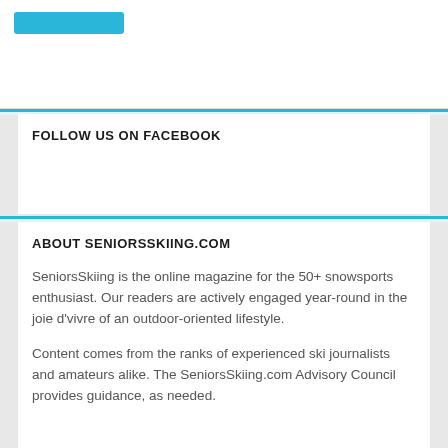[Figure (other): Cyan/blue button element at top of page]
FOLLOW US ON FACEBOOK
ABOUT SENIORSSKIING.COM
SeniorsSkiing is the online magazine for the 50+ snowsports enthusiast. Our readers are actively engaged year-round in the joie d'vivre of an outdoor-oriented lifestyle.
Content comes from the ranks of experienced ski journalists and amateurs alike. The SeniorsSkiing.com Advisory Council provides guidance, as needed.